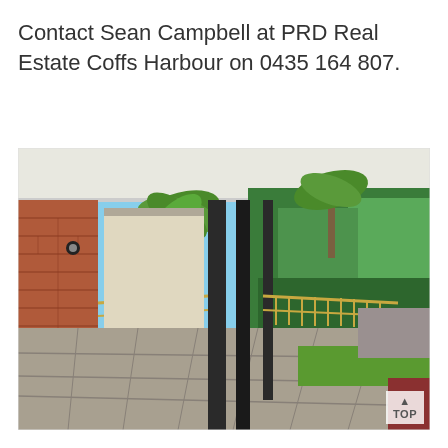Contact Sean Campbell at PRD Real Estate Coffs Harbour on 0435 164 807.
[Figure (photo): Exterior photo of a covered verandah/balcony with tiled floor, dark steel columns, gold-coloured metal railing, brick wall on the left, and lush green tropical garden with palm trees visible in the background under a blue sky.]